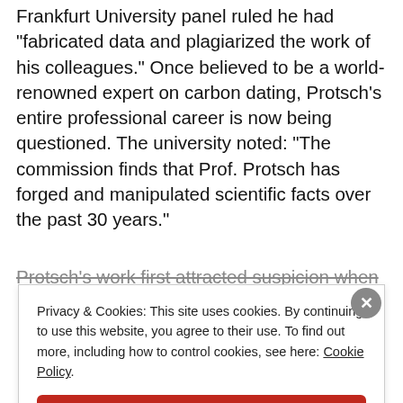Frankfurt University panel ruled he had "fabricated data and plagiarized the work of his colleagues." Once believed to be a world-renowned expert on carbon dating, Protsch's entire professional career is now being questioned. The university noted: "The commission finds that Prof. Protsch has forged and manipulated scientific facts over the past 30 years."
Protsch's work first attracted suspicion when
Privacy & Cookies: This site uses cookies. By continuing to use this website, you agree to their use. To find out more, including how to control cookies, see here: Cookie Policy
Close and accept